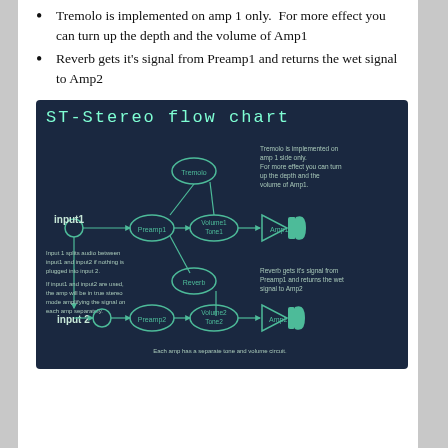Tremolo is implemented on amp 1 only. For more effect you can turn up the depth and the volume of Amp1
Reverb gets it's signal from Preamp1 and returns the wet signal to Amp2
[Figure (flowchart): ST-Stereo flow chart showing signal path: input1 and input2 feed into Preamp1 and Preamp2 respectively (input1 splits audio between input1 and input2 if nothing is plugged into input2). Tremolo module feeds into Volume1/Tone1 then Amp1 (speaker). Reverb module connects between Preamp1 and Amp2 path. Volume2/Tone2 feeds Amp2 (speaker). Each amp has a separate tone and volume circuit.]